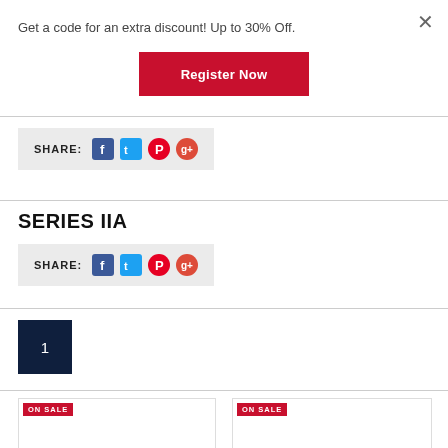Get a code for an extra discount! Up to 30% Off.
[Figure (screenshot): Register Now red button]
[Figure (screenshot): SHARE bar with Facebook, Twitter, Pinterest, Google+ icons]
SERIES IIA
[Figure (screenshot): SHARE bar with Facebook, Twitter, Pinterest, Google+ icons]
[Figure (screenshot): Pagination: page 1 dark blue box]
[Figure (screenshot): Two product cards both labeled ON SALE]